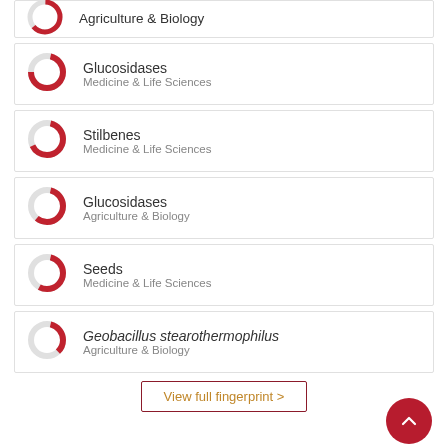Glucosidases – Medicine & Life Sciences
Stilbenes – Medicine & Life Sciences
Glucosidases – Agriculture & Biology
Seeds – Medicine & Life Sciences
Geobacillus stearothermophilus – Agriculture & Biology
View full fingerprint >